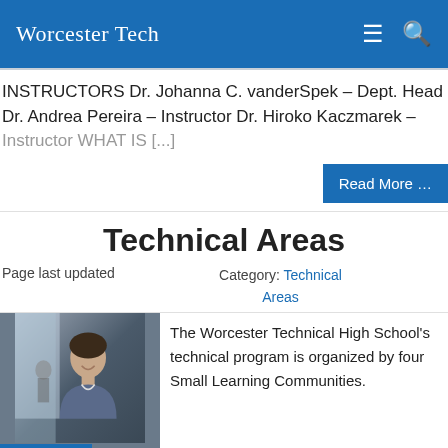Worcester Tech
INSTRUCTORS Dr. Johanna C. vanderSpek – Dept. Head Dr. Andrea Pereira – Instructor Dr. Hiroko Kaczmarek – Instructor WHAT IS [...]
Read More …
Technical Areas
Page last updated    Category: Technical Areas
[Figure (photo): Photo of a smiling person in an indoor setting, with a Translate button overlay at bottom left]
The Worcester Technical High School's technical program is organized by four Small Learning Communities.